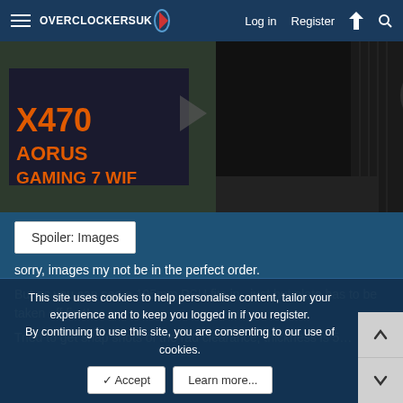Overclockers UK — Log in | Register
[Figure (photo): Photo of a PC build inside a case, with an X470 AORUS GAMING 7 WIFI motherboard box visible on the left side. The case interior shows components being installed with dark panels and orange accents.]
Spoiler: Images
sorry, images my not be in the perfect order.
But as you can see a 195mm PSU fits in.. just but plate has to be taken off first!
Tried to get snap shots of the rad clearance, thickness is 54mm ap…
This site uses cookies to help personalise content, tailor your experience and to keep you logged in if you register.
By continuing to use this site, you are consenting to our use of cookies.
✓ Accept | Learn more...